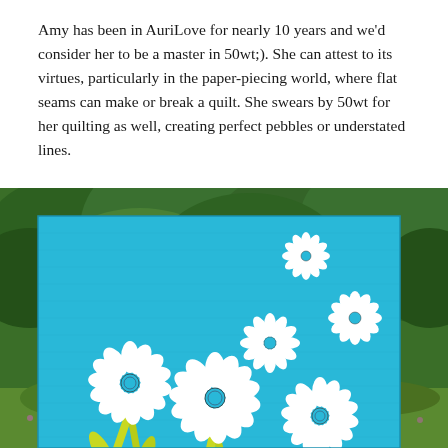Amy has been in AuriLove for nearly 10 years and we'd consider her to be a master in 50wt;). She can attest to its virtues, particularly in the paper-piecing world, where flat seams can make or break a quilt. She swears by 50wt for her quilting as well, creating perfect pebbles or understated lines.
[Figure (photo): A bright blue quilt with white daisy/dandelion flower appliqués and yellow-green stems, photographed outdoors against a backdrop of green trees and grass meadow.]